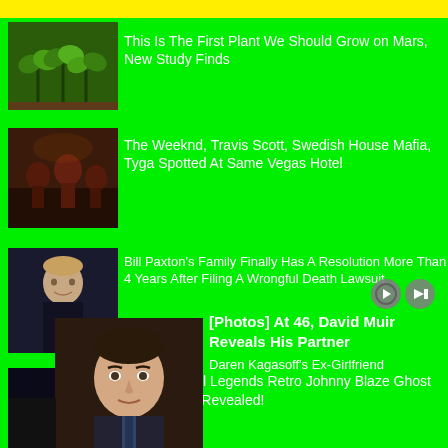[Figure (photo): Small green plants photo]
This Is The First Plant We Should Grow on Mars, New Study Finds
[Figure (photo): Concert/people at event - dark toned photo]
The Weeknd, Travis Scott, Swedish House Mafia, Tyga Spotted At Same Vegas Hotel
[Figure (photo): Young person in dark clothing - Bill Paxton related]
Bill Paxton's Family Finally Has A Resolution More Than 4 Years After Filing A Wrongful Death Lawsuit
[Figure (photo): Marvel Legends Ghost Rider action figure]
Marvel Legends Retro Johnny Blaze Ghost Rider Revealed!
[Figure (photo): David Muir headshot photo]
[Photos] At 46, David Muir Reveals His Partner
Daren Kagasoff's Ex-Girlfriend